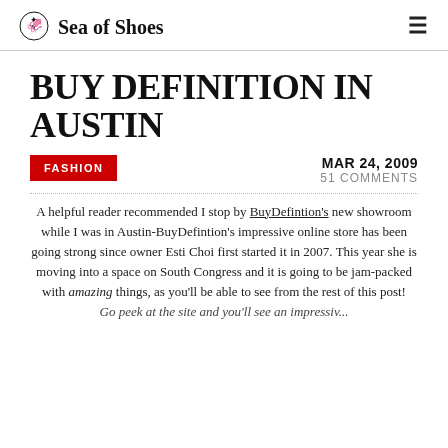Sea of Shoes
BUY DEFINITION IN AUSTIN
FASHION
MAR 24, 2009
51 COMMENTS
A helpful reader recommended I stop by BuyDefintion's new showroom while I was in Austin-BuyDefintion's impressive online store has been going strong since owner Esti Choi first started it in 2007. This year she is moving into a space on South Congress and it is going to be jam-packed with amazing things, as you'll be able to see from the rest of this post!
Go peek at the site and you'll see an impressive...